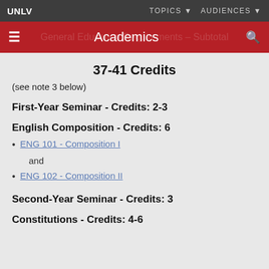UNLV   TOPICS ▼   AUDIENCES ▼
Academics
37-41 Credits
(see note 3 below)
First-Year Seminar - Credits: 2-3
English Composition - Credits: 6
ENG 101 - Composition I
and
ENG 102 - Composition II
Second-Year Seminar - Credits: 3
Constitutions - Credits: 4-6